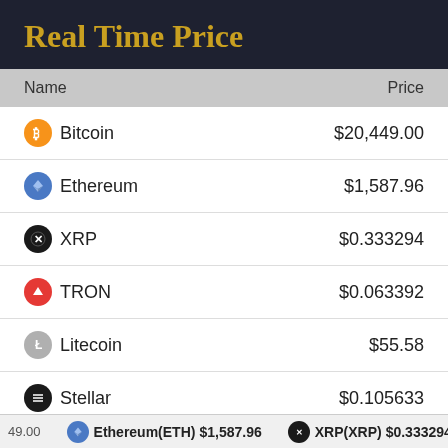Real Time Price
| Name | Price |
| --- | --- |
| Bitcoin | $20,449.00 |
| Ethereum | $1,587.96 |
| XRP | $0.333294 |
| TRON | $0.063392 |
| Litecoin | $55.58 |
| Stellar | $0.105633 |
| Bitcoin Cash | $119.14 |
| EOS | $1.49 |
49.00  Ethereum(ETH) $1,587.96  XRP(XRP) $0.333294